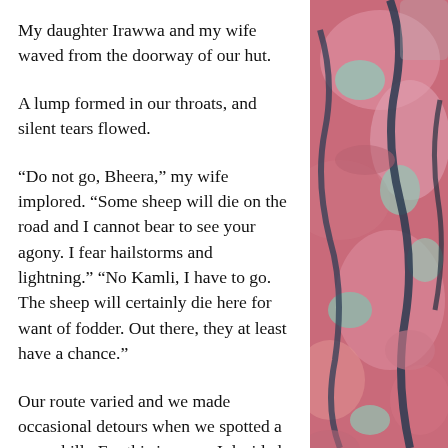My daughter Irawwa and my wife waved from the doorway of our hut.
A lump formed in our throats, and silent tears flowed.
“Do not go, Bheera,” my wife implored. “Some sheep will die on the road and I cannot bear to see your agony. I fear hailstorms and lightning.” “No Kamli, I have to go. The sheep will certainly die here for want of fodder. Out there, they at least have a chance.”
Our route varied and we made occasional detours when we spotted a green hill. For this journey, I decided to take a route which I had not attempted for several years. We usually covered around a hundred kilometres in a round trip lasting some three months.
[Figure (photo): Aerial or satellite photograph showing a river delta or coastal landscape with pinkish-red terrain and dark waterways, viewed from above.]